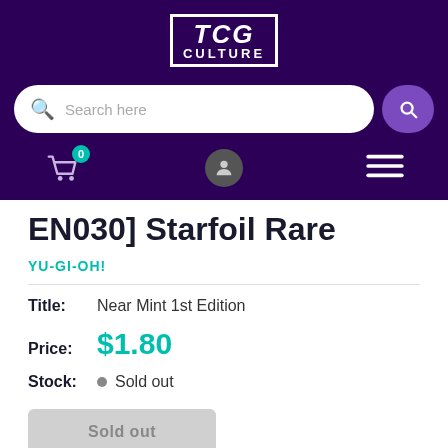TCG CULTURE
EN030] Starfoil Rare
YU-GI-OH!
Title: Near Mint 1st Edition
Price: $1.80
Stock: Sold out
Sold out